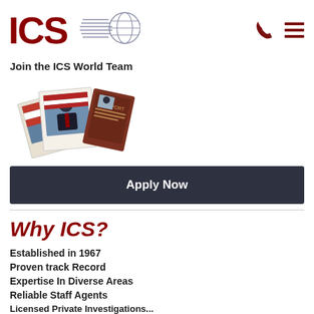[Figure (logo): ICS logo: red letters ICS with horizontal speed lines and a globe graphic]
Join the ICS World Team
[Figure (photo): A stack of polaroid-style ID photos of a man in a suit with a US flag background, and a passport booklet]
Apply Now
Why ICS?
Established in 1967
Proven track Record
Expertise In Diverse Areas
Reliable Staff Agents
Licensed Private Investigators